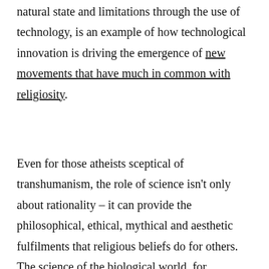natural state and limitations through the use of technology, is an example of how technological innovation is driving the emergence of new movements that have much in common with religiosity.
Even for those atheists sceptical of transhumanism, the role of science isn't only about rationality – it can provide the philosophical, ethical, mythical and aesthetic fulfilments that religious beliefs do for others. The science of the biological world, for example, is much more than a topic of intellectual curiosity – for some atheists, it